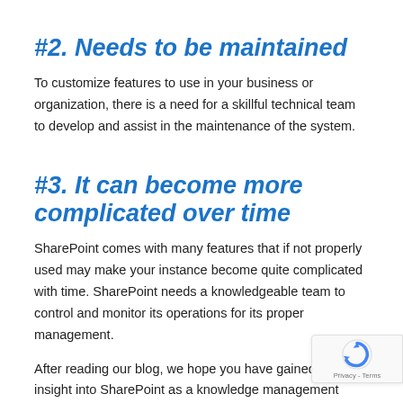#2. Needs to be maintained
To customize features to use in your business or organization, there is a need for a skillful technical team to develop and assist in the maintenance of the system.
#3. It can become more complicated over time
SharePoint comes with many features that if not properly used may make your instance become quite complicated with time. SharePoint needs a knowledgeable team to control and monitor its operations for its proper management.
After reading our blog, we hope you have gained some insight into SharePoint as a knowledge management